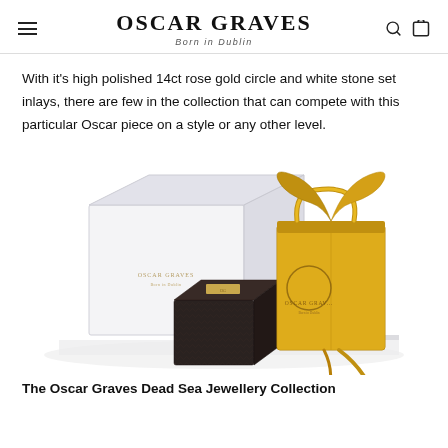OSCAR GRAVES Born in Dublin
With it's high polished 14ct rose gold circle and white stone set inlays, there are few in the collection that can compete with this particular Oscar piece on a style or any other level.
[Figure (photo): Oscar Graves branded packaging: a white gift box, a small dark jewellery box with gold lid, and a yellow branded shopping bag with gold ribbon.]
The Oscar Graves Dead Sea Jewellery Collection